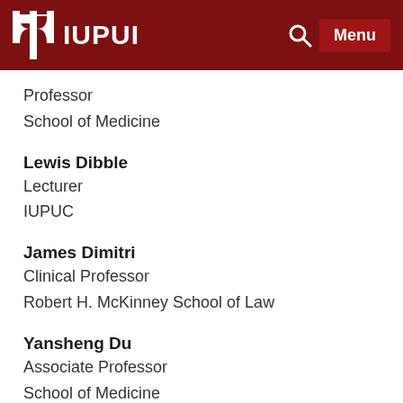IUPUI
Professor
School of Medicine
Lewis Dibble
Lecturer
IUPUC
James Dimitri
Clinical Professor
Robert H. McKinney School of Law
Yansheng Du
Associate Professor
School of Medicine
Joseph Dynlacht
Associate Professor